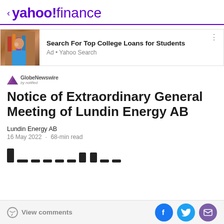< yahoo!finance
[Figure (photo): Ad banner with a woman on the phone at a desk with books, for Yahoo Search college loans ad. Text: Search For Top College Loans for Students. Ad • Yahoo Search]
Search For Top College Loans for Students
Ad • Yahoo Search
[Figure (logo): GlobeNewswire by notified logo — purple triangle/play icon with GlobeNewswire text]
Notice of Extraordinary General Meeting of Lundin Energy AB
Lundin Energy AB
16 May 2022  ·  68-min read
[Figure (logo): Decorative colorful geometric logo in orange/red/yellow tones, bottom right of article area]
View comments